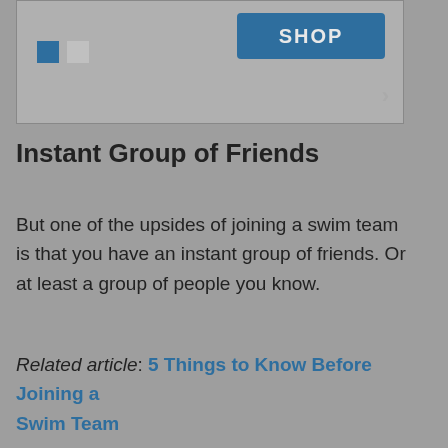[Figure (screenshot): A banner widget area showing a SHOP button in steel blue, two small colored squares (blue and gray), and a right-arrow chevron]
Instant Group of Friends
But one of the upsides of joining a swim team is that you have an instant group of friends. Or at least a group of people you know.
Related article: 5 Things to Know Before Joining a Swim Team